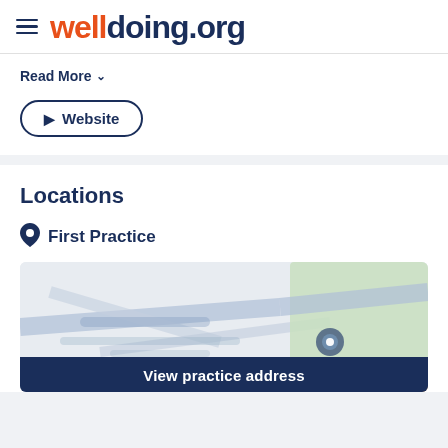welldoing.org
Read More
Website
Locations
First Practice
[Figure (map): Blurred map showing a location pin for First Practice]
View practice address